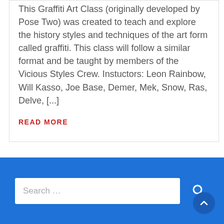This Graffiti Art Class (originally developed by Pose Two) was created to teach and explore the history styles and techniques of the art form called graffiti. This class will follow a similar format and be taught by members of the Vicious Styles Crew. Instuctors: Leon Rainbow, Will Kasso, Joe Base, Demer, Mek, Snow, Ras, Delve, [...]
READ MORE
Search ...